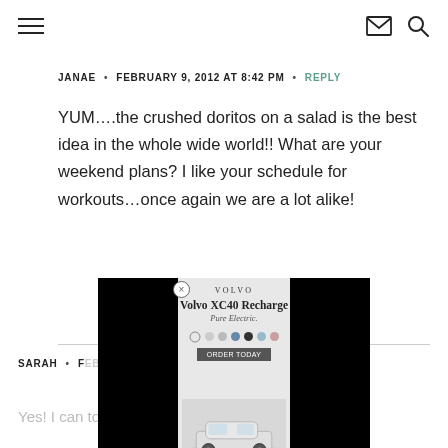Navigation bar with hamburger menu, envelope icon, and search icon
JANAE · FEBRUARY 9, 2012 AT 8:42 PM · REPLY
YUM….the crushed doritos on a salad is the best idea in the whole wide world!! What are your weekend plans? I like your schedule for workouts…once again we are a lot alike!
[Figure (screenshot): Volvo XC40 Recharge Pure Electric advertisement overlay with black side panels and color selector]
SARAH · F[date cut off]
Yes! I can totally relate to the chaffing. My heart rate